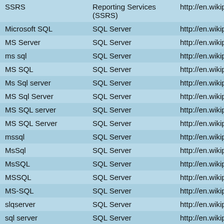|  |  |  |
| --- | --- | --- |
| SSRS | Reporting Services (SSRS) | http://en.wikipedia.org/ |
| Microsoft SQL | SQL Server | http://en.wikipedia.org/ |
| MS Server | SQL Server | http://en.wikipedia.org/ |
| ms sql | SQL Server | http://en.wikipedia.org/ |
| MS SQL | SQL Server | http://en.wikipedia.org/ |
| Ms Sql server | SQL Server | http://en.wikipedia.org/ |
| MS Sql Server | SQL Server | http://en.wikipedia.org/ |
| MS SQL server | SQL Server | http://en.wikipedia.org/ |
| MS SQL Server | SQL Server | http://en.wikipedia.org/ |
| mssql | SQL Server | http://en.wikipedia.org/ |
| MsSql | SQL Server | http://en.wikipedia.org/ |
| MsSQL | SQL Server | http://en.wikipedia.org/ |
| MSSQL | SQL Server | http://en.wikipedia.org/ |
| MS-SQL | SQL Server | http://en.wikipedia.org/ |
| slqserver | SQL Server | http://en.wikipedia.org/ |
| sql server | SQL Server | http://en.wikipedia.org/ |
| sql Server | SQL Server | http://en.wikipedia.org/ |
| Sql server | SQL Server | http://en.wikipedia.org/ |
| Sql Server | SQL Server | http://en.wikipedia.org/ |
| SQl server | SQL Server | http://en.wikipedia.org/ |